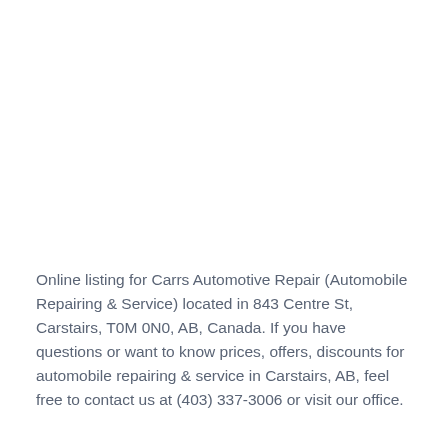Online listing for Carrs Automotive Repair (Automobile Repairing & Service) located in 843 Centre St, Carstairs, T0M 0N0, AB, Canada. If you have questions or want to know prices, offers, discounts for automobile repairing & service in Carstairs, AB, feel free to contact us at (403) 337-3006 or visit our office.